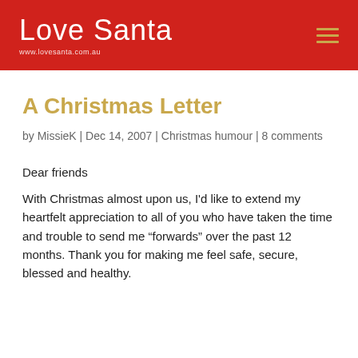Love Santa | www.lovesanta.com.au
A Christmas Letter
by MissieK | Dec 14, 2007 | Christmas humour | 8 comments
Dear friends
With Christmas almost upon us, I'd like to extend my heartfelt appreciation to all of you who have taken the time and trouble to send me “forwards” over the past 12 months. Thank you for making me feel safe, secure, blessed and healthy.